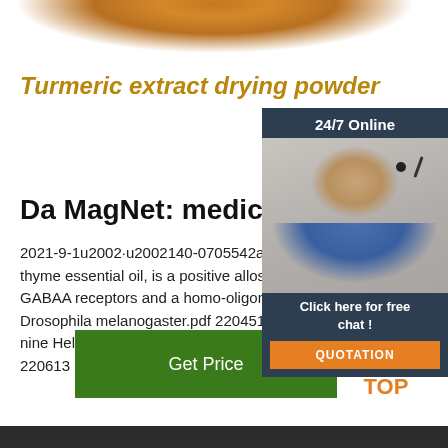[Figure (photo): Turmeric orange powder at top of page]
Turmeric extract drying powder
[Figure (infographic): 24/7 Online popup with customer service representative photo, 'Click here for free chat!' text, and QUOTATION button]
Da MagNet: medical Journa
2021-9-1u2002·u2002140-0705542a-Thymol, a component of thyme essential oil, is a positive allosteric modulator of GABAA receptors and a homo-oligomeric GABA in Drosophila melanogaster.pdf 220451 Cytogeneti nine Helichrysum taxa in human lymphocytes cu 220613
[Figure (other): Get Price green button]
[Figure (other): TOP icon with orange dots arranged in triangle]